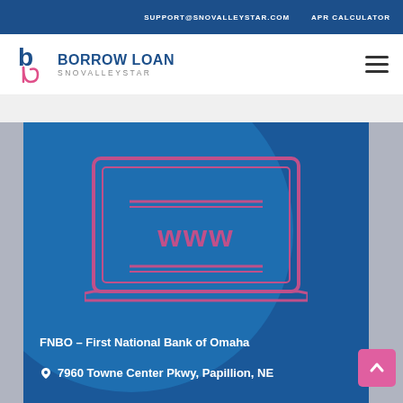SUPPORT@SNOVALLEYSTAR.COM   APR CALCULATOR
[Figure (logo): Borrow Loan Snovalleystar logo with stylized b/p icon in pink and navy]
FNBO – First National Bank of Omaha
7960 Towne Center Pkwy, Papillion, NE
[Figure (illustration): Dark blue banner with large circle and laptop/monitor illustration showing 'www' text in pink, with a back-to-top arrow button in pink]